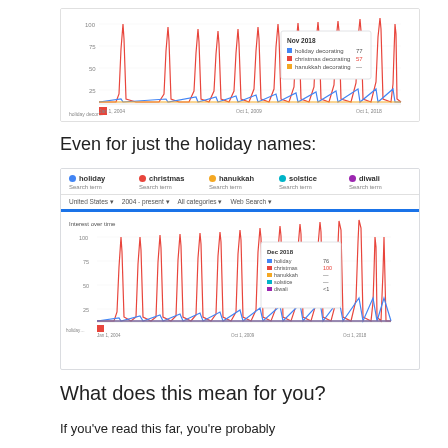[Figure (line-chart): Google Trends line chart showing holiday decorating, christmas decorating, hanukkah decorating search terms over time with recurring annual spikes. Tooltip shows Nov 2018 data.]
Even for just the holiday names:
[Figure (line-chart): Google Trends screenshot showing search interest over time for: holiday, christmas, hanukkah, solstice, diwali — United States, 2004-present, All categories, Web Search. Tooltip shows Dec 2018 data with holiday: 76, christmas: 100, hanukkah: -, solstice: -, diwali: <1]
What does this mean for you?
If you've read this far, you're probably